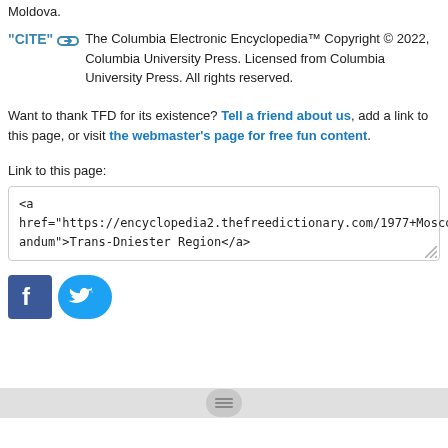Moldova.
"CITE" [link icon] The Columbia Electronic Encyclopedia™ Copyright © 2022, Columbia University Press. Licensed from Columbia University Press. All rights reserved.
Want to thank TFD for its existence? Tell a friend about us, add a link to this page, or visit the webmaster's page for free fun content.
Link to this page:
<a href="https://encyclopedia2.thefreedictionary.com/1977+Moscow+Memorandum">Trans-Dniester Region</a>
[Figure (logo): Facebook and Twitter social media icons]
Navigation/menu bar with hamburger icon